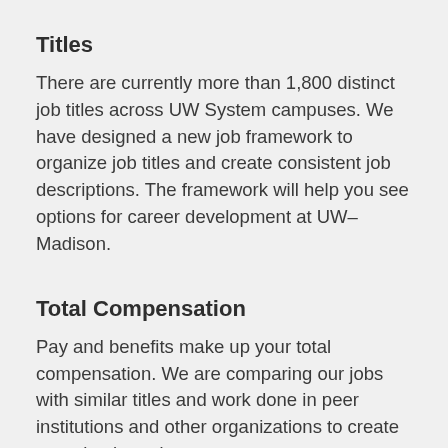Titles
There are currently more than 1,800 distinct job titles across UW System campuses. We have designed a new job framework to organize job titles and create consistent job descriptions. The framework will help you see options for career development at UW–Madison.
Total Compensation
Pay and benefits make up your total compensation. We are comparing our jobs with similar titles and work done in peer institutions and other organizations to create a market based pay structure.